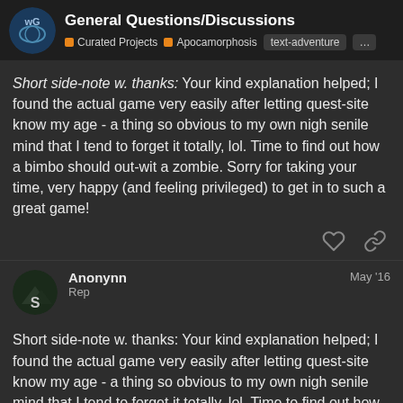General Questions/Discussions | Curated Projects | Apocamorphosis | text-adventure
Short side-note w. thanks: Your kind explanation helped; I found the actual game very easily after letting quest-site know my age - a thing so obvious to my own nigh senile mind that I tend to forget it totally, lol. Time to find out how a bimbo should out-wit a zombie. Sorry for taking your time, very happy (and feeling privileged) to get in to such a great game!
Anonynn
Rep
May '16
Short side-note w. thanks: Your kind explanation helped; I found the actual game very easily after letting quest-site know my age - a thing so obvious to my own nigh senile mind that I tend to forget it totally, lol. Time to find out how a bimbo should out-wit a zombie. Sorry for taking your time, very ha privileged) to get in to such a great game!
8 / 99